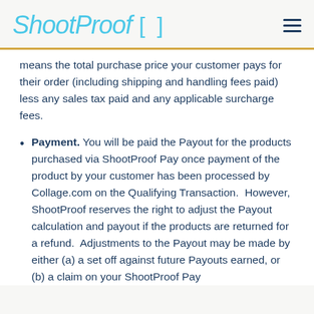ShootProof [ ]
means the total purchase price your customer pays for their order (including shipping and handling fees paid) less any sales tax paid and any applicable surcharge fees.
Payment. You will be paid the Payout for the products purchased via ShootProof Pay once payment of the product by your customer has been processed by Collage.com on the Qualifying Transaction. However, ShootProof reserves the right to adjust the Payout calculation and payout if the products are returned for a refund. Adjustments to the Payout may be made by either (a) a set off against future Payouts earned, or (b) a claim on your ShootProof Pay